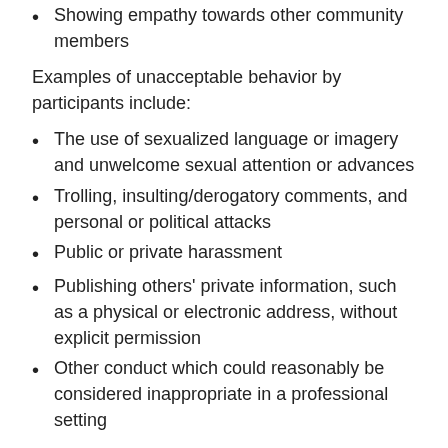Showing empathy towards other community members
Examples of unacceptable behavior by participants include:
The use of sexualized language or imagery and unwelcome sexual attention or advances
Trolling, insulting/derogatory comments, and personal or political attacks
Public or private harassment
Publishing others' private information, such as a physical or electronic address, without explicit permission
Other conduct which could reasonably be considered inappropriate in a professional setting
Our Responsibilities
Project maintainers are responsible for clarifying the